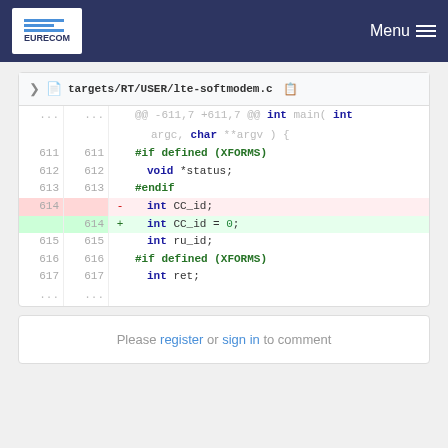EURECOM  Menu
targets/RT/USER/lte-softmodem.c
[Figure (screenshot): Code diff view showing changes to targets/RT/USER/lte-softmodem.c. Line 614 changed from 'int CC_id;' to 'int CC_id = 0;'. Context lines 611-617 shown.]
Please register or sign in to comment